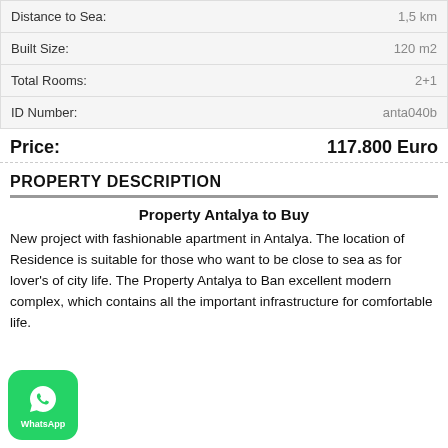| Property | Value |
| --- | --- |
| Distance to Sea: | 1,5 km |
| Built Size: | 120 m2 |
| Total Rooms: | 2+1 |
| ID Number: | anta040b |
Price: 117.800 Euro
PROPERTY DESCRIPTION
Property Antalya to Buy
New project with fashionable apartment in Antalya. The location of Residence is suitable for those who want to be close to sea as for lover's of city life. The Property Antalya to [buy is] an excellent modern complex, which contains all the important infrastructure for comfortable life.
[Figure (logo): WhatsApp contact button (green rounded square with WhatsApp icon and label)]